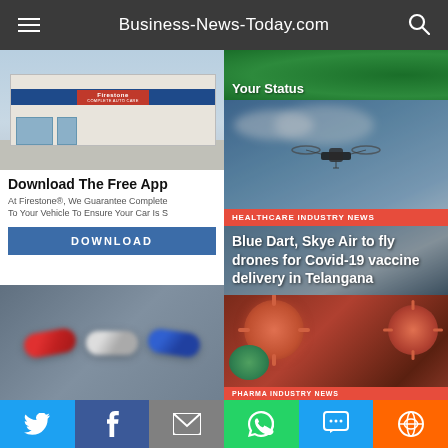Business-News-Today.com
[Figure (photo): Firestone auto care store front exterior with blue awning and signage]
Download The Free App
At Firestone®, We Guarantee Complete To Your Vehicle To Ensure Your Car Is S
DOWNLOAD
[Figure (photo): Your Status - partially visible green background with text]
[Figure (photo): Drone flying in sky with clouds - healthcare news story image]
HEALTHCARE INDUSTRY NEWS
Blue Dart, Skye Air to fly drones for Covid-19 vaccine delivery in Telangana
[Figure (photo): Blurry red white blue pills/capsules]
[Figure (photo): Coronavirus particles microscope image - orange/red color]
PHARMA INDUSTRY NEWS
Topgolf® – Family Fun
Twitter | Facebook | Email | WhatsApp | SMS | More - social share bar